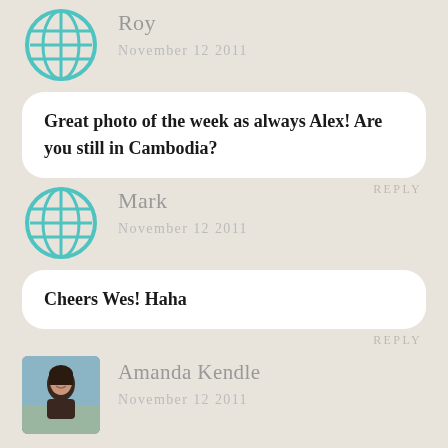Roy
November 12 2011
Great photo of the week as always Alex! Are you still in Cambodia?
REPLY
Mark
November 12 2011
Cheers Wes! Haha
REPLY
Amanda Kendle
November 12 2011